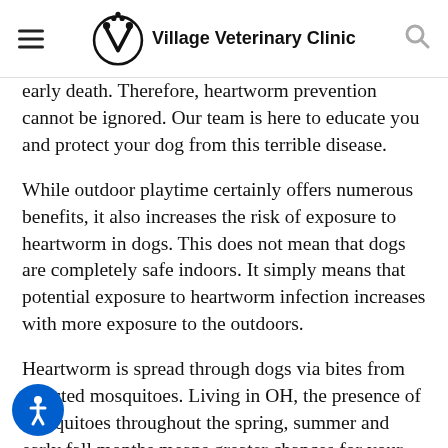Village Veterinary Clinic
early death. Therefore, heartworm prevention cannot be ignored. Our team is here to educate you and protect your dog from this terrible disease.
While outdoor playtime certainly offers numerous benefits, it also increases the risk of exposure to heartworm in dogs. This does not mean that dogs are completely safe indoors. It simply means that potential exposure to heartworm infection increases with more exposure to the outdoors.
Heartworm is spread through dogs via bites from infected mosquitoes. Living in OH, the presence of mosquitoes throughout the spring, summer and early fall months means greater chances for your dog to contract heartworms. Once a heartworm infestation occurs, it will become life threatening. Therefore, our goal is to implement a